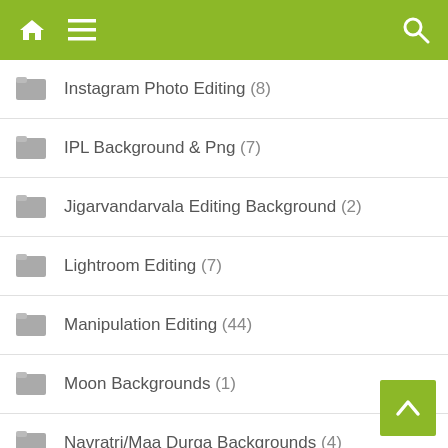[Figure (screenshot): Green navigation header bar with home icon, hamburger menu icon, and search icon]
Instagram Photo Editing (8)
IPL Background & Png (7)
Jigarvandarvala Editing Background (2)
Lightroom Editing (7)
Manipulation Editing (44)
Moon Backgrounds (1)
Navratri/Maa Durga Backgrounds (4)
Picsart Editing (199)
PNG (14)
Pranav PG Backgrounds (7)
Pubg Mobile Backgrounds (1)